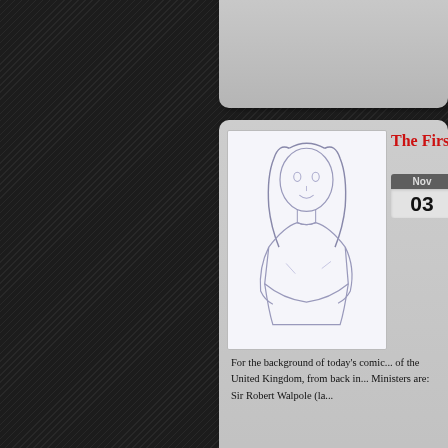[Figure (illustration): Partial top of a blog/webcomic article card, cut off at top of page, gray gradient background]
[Figure (illustration): Article card with title 'The First Pri...' (cut off), a pencil sketch thumbnail of a person with long hair, calendar showing Nov 03, and byline 'By Zoe Kirk-...']
For the background of today's comic... of the United Kingdom, from back in... Ministers are: Sir Robert Walpole (la...
New designs
By Zoe Kirk-Robinson on January 31,...
In the five years since Jennifer and...